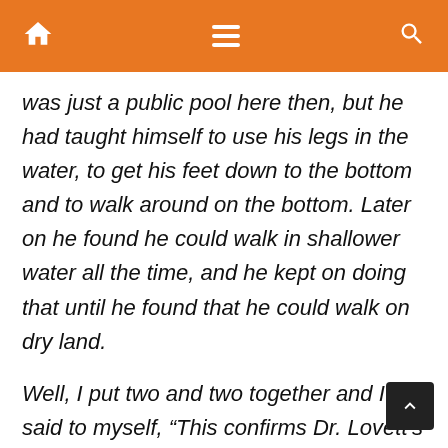was just a public pool here then, but he had taught himself to use his legs in the water, to get his feet down to the bottom and to walk around on the bottom. Later on he found he could walk in shallower water all the time, and he kept on doing that until he found that he could walk on dry land.
Well, I put two and two together and I said to myself, “This confirms Dr. Lovett’s theory.” Meanwhile, Dr. Lovett had gone on a trip Europe and unfortunately had died over